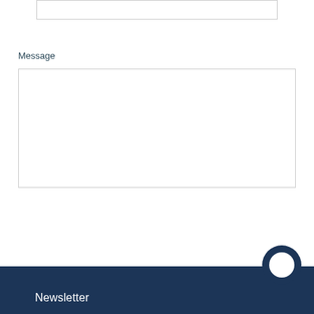(partial input box at top)
Message
POST COMMENT
← BACK TO BLOGS
Newsletter